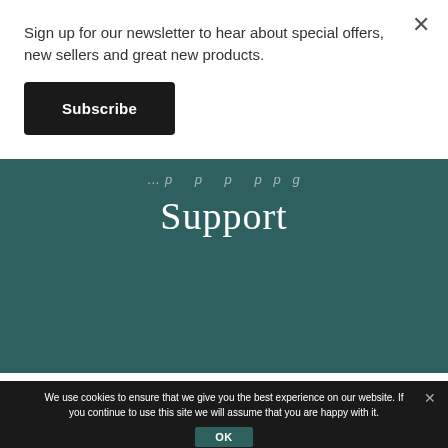Sign up for our newsletter to hear about special offers, new sellers and great new products.
Subscribe
[Figure (other): Dark teal banner with script text 'Support' visible, partially obscured by overlaid popup]
We use cookies to ensure that we give you the best experience on our website. If you continue to use this site we will assume that you are happy with it.
OK